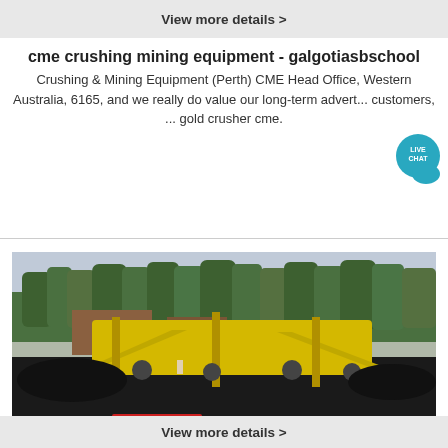View more details >
cme crushing mining equipment - galgotiasbschool
Crushing & Mining Equipment (Perth) CME Head Office, Western Australia, 6165, and we really do value our long-term advert... customers, ... gold crusher cme.
Get Price
[Figure (photo): Yellow mobile crushing/screening machine parked on a dark gravel surface with green trees in the background.]
View more details >